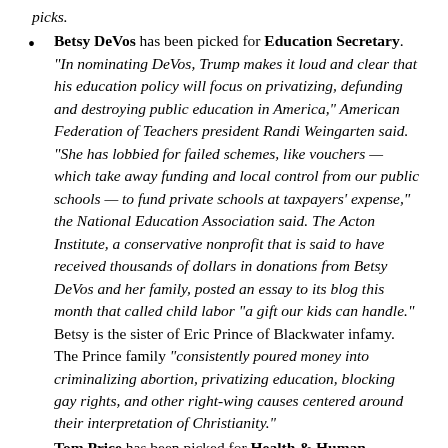picks.
Betsy DeVos has been picked for Education Secretary. "In nominating DeVos, Trump makes it loud and clear that his education policy will focus on privatizing, defunding and destroying public education in America," American Federation of Teachers president Randi Weingarten said. "She has lobbied for failed schemes, like vouchers — which take away funding and local control from our public schools — to fund private schools at taxpayers' expense," the National Education Association said. The Acton Institute, a conservative nonprofit that is said to have received thousands of dollars in donations from Betsy DeVos and her family, posted an essay to its blog this month that called child labor "a gift our kids can handle." Betsy is the sister of Eric Prince of Blackwater infamy. The Prince family "consistently poured money into criminalizing abortion, privatizing education, blocking gay rights, and other right-wing causes centered around their interpretation of Christianity."
Tom Price has been picked for Health & Human